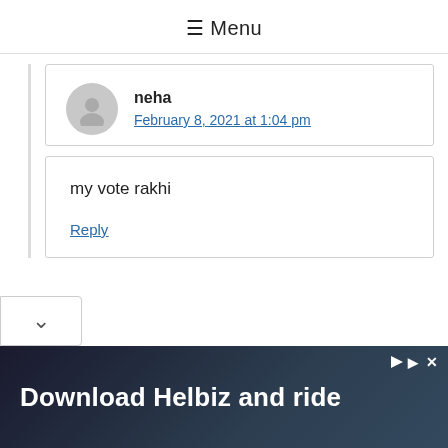≡ Menu
neha
February 8, 2021 at 1:04 pm
my vote rakhi
Reply
[Figure (infographic): Advertisement banner: Download Helbiz and ride, with scooter background image and play/close controls]